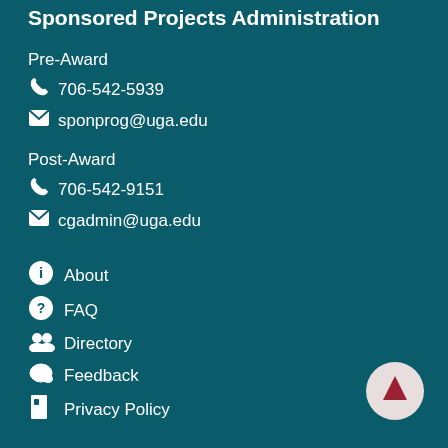Sponsored Projects Administration
Pre-Award
706-542-5939
sponprog@uga.edu
Post-Award
706-542-9151
cgadmin@uga.edu
About
FAQ
Directory
Feedback
Privacy Policy